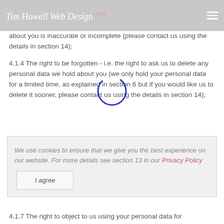Tim Howell Web Design .com
about you is inaccurate or incomplete (please contact us using the details in section 14);
4.1.4 The right to be forgotten - i.e. the right to ask us to delete any personal data we hold about you (we only hold your personal data for a limited time, as explained in section 6 but if you would like us to delete it sooner, please contact us using the details in section 14);
We use cookies to ensure that we give you the best experience on our website. For more details see section 13 in our Privacy Policy
I agree
4.1.7 The right to object to us using your personal data for